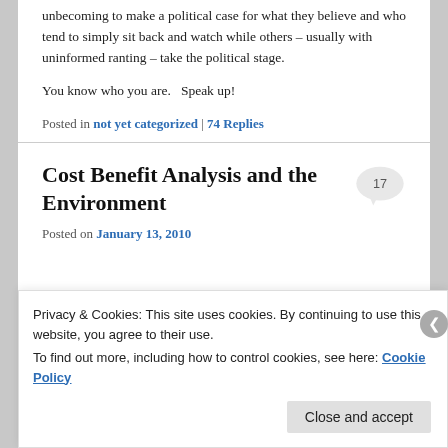unbecoming to make a political case for what they believe and who tend to simply sit back and watch while others – usually with uninformed ranting – take the political stage.
You know who you are.   Speak up!
Posted in not yet categorized | 74 Replies
Cost Benefit Analysis and the Environment
Posted on January 13, 2010
Privacy & Cookies: This site uses cookies. By continuing to use this website, you agree to their use.
To find out more, including how to control cookies, see here: Cookie Policy